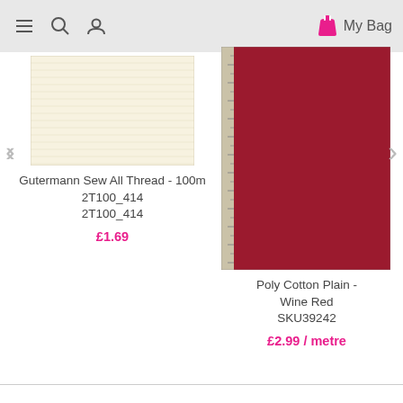≡  🔍  👤   My Bag
[Figure (photo): Cream/ivory colored Gutermann thread spool texture]
Gutermann Sew All Thread - 100m
2T100_414
2T100_414
£1.69
[Figure (photo): Wine red poly cotton plain fabric with ruler strip on left side]
Poly Cotton Plain - Wine Red
SKU39242
£2.99 / metre